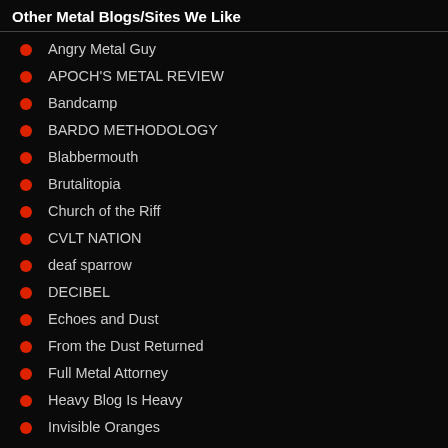Other Metal Blogs/Sites We Like
Angry Metal Guy
APOCH'S METAL REVIEW
Bandcamp
BARDO METHODOLOGY
Blabbermouth
Brutalitopia
Church of the Riff
CVLT NATION
deaf sparrow
DECIBEL
Echoes and Dust
From the Dust Returned
Full Metal Attorney
Heavy Blog Is Heavy
Invisible Oranges
Lambgoat
Last Rites
METAL BANDCAMP
Metal Injection